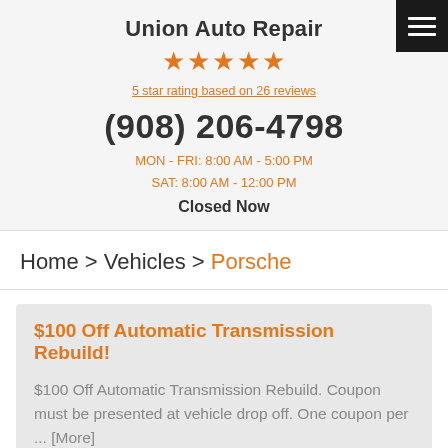Union Auto Repair
[Figure (other): 5 orange stars rating display]
5 star rating based on 26 reviews
(908) 206-4798
MON - FRI: 8:00 AM - 5:00 PM
SAT: 8:00 AM - 12:00 PM
Closed Now
Home > Vehicles > Porsche
$100 Off Automatic Transmission Rebuild!
$100 Off Automatic Transmission Rebuild. Coupon must be presented at vehicle drop off. One coupon per ... [More]